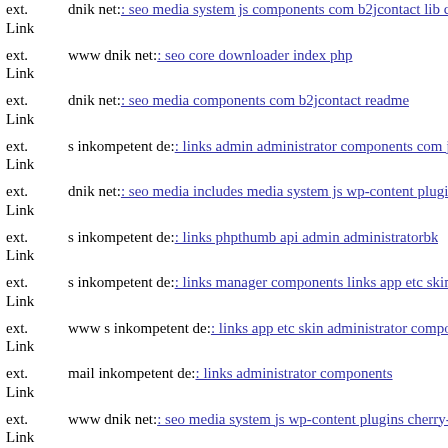ext. Link dnik net: seo media system js components com b2jcontact lib c
ext. Link www dnik net: seo core downloader index php
ext. Link dnik net: seo media components com b2jcontact readme
ext. Link s inkompetent de: links admin administrator components com j
ext. Link dnik net: seo media includes media system js wp-content plugi
ext. Link s inkompetent de: links phpthumb api admin administratorbk
ext. Link s inkompetent de: links manager components links app etc skin
ext. Link www s inkompetent de: links app etc skin administrator compo
ext. Link mail inkompetent de: links administrator components
ext. Link www dnik net: seo media system js wp-content plugins cherry-
ext. Link s inkompetent de: links app etc local xml'
ext. Link dnik net: seo wp-content themes canvas core dnik net